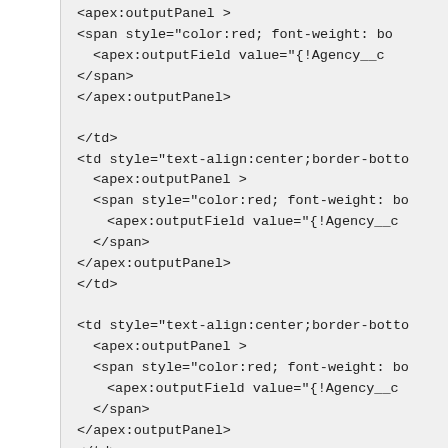<apex:outputPanel >
<span style="color:red; font-weight: bo
 <apex:outputField value="{!Agency__c
 </span>
</apex:outputPanel>

</td>
<td style="text-align:center;border-botto
 <apex:outputPanel >
 <span style="color:red; font-weight: bo
  <apex:outputField value="{!Agency__c
 </span>
</apex:outputPanel>
</td>

<td style="text-align:center;border-botto
 <apex:outputPanel >
 <span style="color:red; font-weight: bo
  <apex:outputField value="{!Agency__c
 </span>
</apex:outputPanel>
</td>